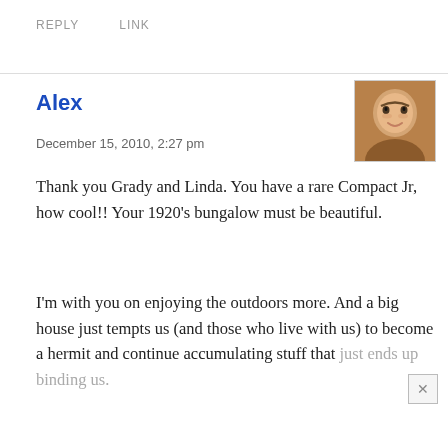REPLY   LINK
Alex
December 15, 2010, 2:27 pm
[Figure (photo): Profile photo of a smiling young man with short hair, against a warm brown background.]
Thank you Grady and Linda. You have a rare Compact Jr, how cool!! Your 1920’s bungalow must be beautiful.
I’m with you on enjoying the outdoors more. And a big house just tempts us (and those who live with us) to become a hermit and continue accumulating stuff that just ends up binding us.